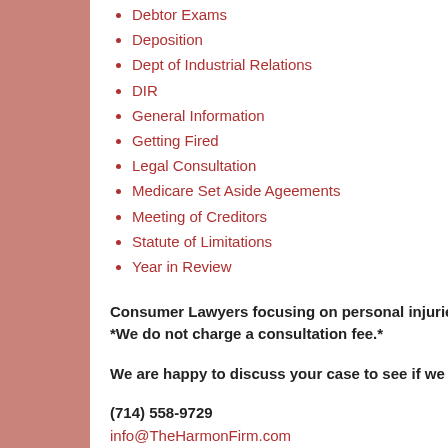Debtor Exams
Deposition
Dept of Industrial Relations
DIR
General Information
Getting Fired
Legal Consultation
Medicare Set Aside Ageements
Meeting of Creditors
Statute of Limitations
Year in Review
Consumer Lawyers focusing on personal injuries, bankruptcy and business disputes.
*We do not charge a consultation fee.*
We are happy to discuss your case to see if we can help.
(714) 558-9729
info@TheHarmonFirm.com
http://www.TheHarmonFirm.com
Post a C…
Newer Post
Subscribe to